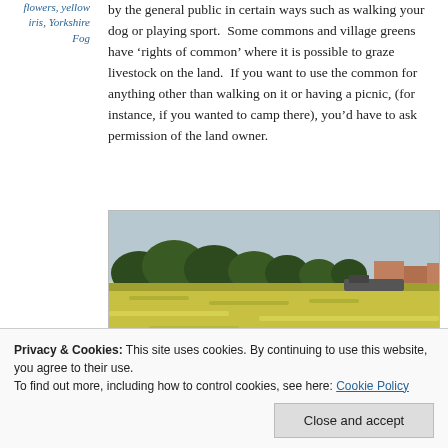flowers, yellow iris, Yorkshire Fog
by the general public in certain ways such as walking your dog or playing sport. Some commons and village greens have ‘rights of common’ where it is possible to graze livestock on the land. If you want to use the common for anything other than walking on it or having a picnic, (for instance, if you wanted to camp there), you’d have to ask permission of the land owner.
[Figure (photo): A wide field covered in yellow flowers with trees and buildings visible in the background under a grey sky.]
Privacy & Cookies: This site uses cookies. By continuing to use this website, you agree to their use.
To find out more, including how to control cookies, see here: Cookie Policy
Close and accept